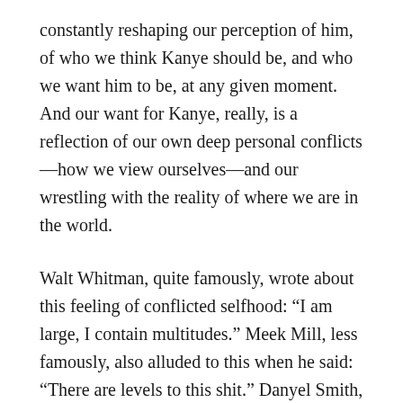constantly reshaping our perception of him, of who we think Kanye should be, and who we want him to be, at any given moment. And our want for Kanye, really, is a reflection of our own deep personal conflicts—how we view ourselves—and our wrestling with the reality of where we are in the world.
Walt Whitman, quite famously, wrote about this feeling of conflicted selfhood: “I am large, I contain multitudes.” Meek Mill, less famously, also alluded to this when he said: “There are levels to this shit.” Danyel Smith, writing about Tupac in 1997, captured the sentiment perfectly: “Tupac’s different lives were very much in league, though; none would have been vibrant without the others. He managed them, like he managed